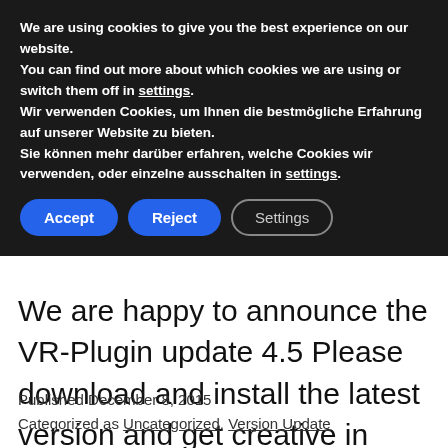We are using cookies to give you the best experience on our website.
You can find out more about which cookies we are using or switch them off in settings.
Wir verwenden Cookies, um Ihnen die bestmögliche Erfahrung auf unserer Website zu bieten.
Sie können mehr darüber erfahren, welche Cookies wir verwenden, oder einzelne ausschalten in settings.
Accept   Reject   Settings
We are happy to announce the VR-Plugin update 4.5 Please download and install the latest version and get creative in Virtual Reality.
Published December 8, 2015
Categorized as Uncategorized, Version Update